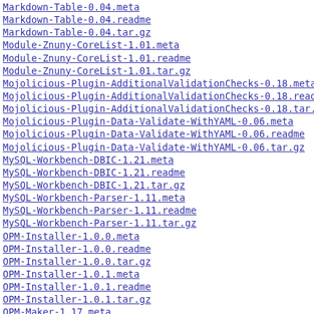Markdown-Table-0.04.meta
Markdown-Table-0.04.readme
Markdown-Table-0.04.tar.gz
Module-Znuny-CoreList-1.01.meta
Module-Znuny-CoreList-1.01.readme
Module-Znuny-CoreList-1.01.tar.gz
Mojolicious-Plugin-AdditionalValidationChecks-0.18.meta
Mojolicious-Plugin-AdditionalValidationChecks-0.18.readme
Mojolicious-Plugin-AdditionalValidationChecks-0.18.tar.gz
Mojolicious-Plugin-Data-Validate-WithYAML-0.06.meta
Mojolicious-Plugin-Data-Validate-WithYAML-0.06.readme
Mojolicious-Plugin-Data-Validate-WithYAML-0.06.tar.gz
MySQL-Workbench-DBIC-1.21.meta
MySQL-Workbench-DBIC-1.21.readme
MySQL-Workbench-DBIC-1.21.tar.gz
MySQL-Workbench-Parser-1.11.meta
MySQL-Workbench-Parser-1.11.readme
MySQL-Workbench-Parser-1.11.tar.gz
OPM-Installer-1.0.0.meta
OPM-Installer-1.0.0.readme
OPM-Installer-1.0.0.tar.gz
OPM-Installer-1.0.1.meta
OPM-Installer-1.0.1.readme
OPM-Installer-1.0.1.tar.gz
OPM-Maker-1.17.meta
OPM-Maker-1.17.readme
OPM-Maker-1.17.tar.gz
OPM-Maker-Command-sopm-1.1.0.meta
OPM-Maker-Command-sopm-1.1.0.readme
OPM-Maker-Command-sopm-1.1.0.tar.gz